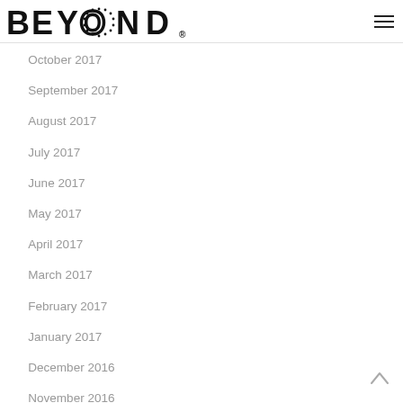BEYOND®
October 2017
September 2017
August 2017
July 2017
June 2017
May 2017
April 2017
March 2017
February 2017
January 2017
December 2016
November 2016
October 2016
September 2016